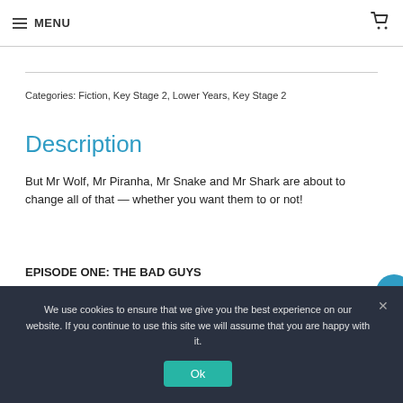MENU
Categories: Fiction, Key Stage 2, Lower Years, Key Stage 2
Description
But Mr Wolf, Mr Piranha, Mr Snake and Mr Shark are about to change all of that — whether you want them to or not!
EPISODE ONE: THE BAD GUYS
We use cookies to ensure that we give you the best experience on our website. If you continue to use this site we will assume that you are happy with it.